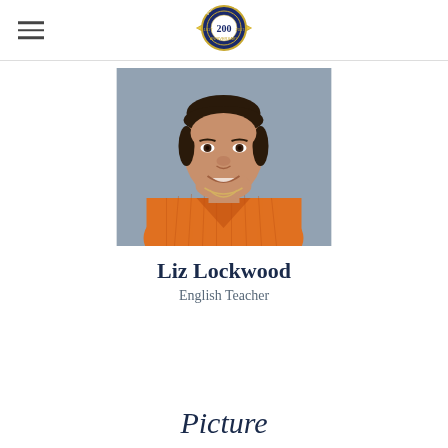[School 200th Anniversary Logo]
[Figure (photo): Portrait photo of Liz Lockwood, a woman wearing an orange ribbed sweater, smiling, photographed against a grey/blue background.]
Liz Lockwood
English Teacher
Picture